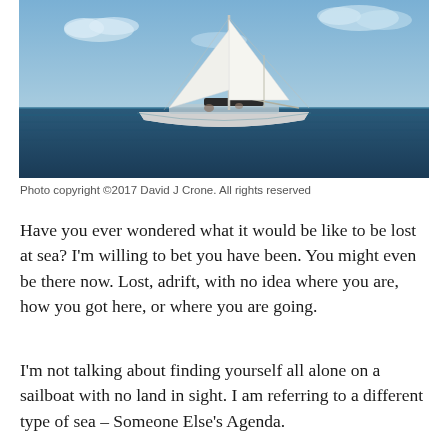[Figure (photo): A white sailboat with white sails on a deep blue ocean under a partly cloudy blue sky.]
Photo copyright ©2017 David J Crone. All rights reserved
Have you ever wondered what it would be like to be lost at sea? I'm willing to bet you have been. You might even be there now. Lost, adrift, with no idea where you are, how you got here, or where you are going.
I'm not talking about finding yourself all alone on a sailboat with no land in sight. I am referring to a different type of sea – Someone Else's Agenda.